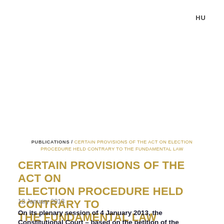HU
PUBLICATIONS / CERTAIN PROVISIONS OF THE ACT ON ELECTION PROCEDURE HELD CONTRARY TO THE FUNDAMENTAL LAW
CERTAIN PROVISIONS OF THE ACT ON ELECTION PROCEDURE HELD CONTRARY TO THE FUNDAMENTAL LAW
12 January 2013
On its plenary session of 4 January 2013, the Constitutional Court – based on the petition of the President of Hungary – has declared that certain